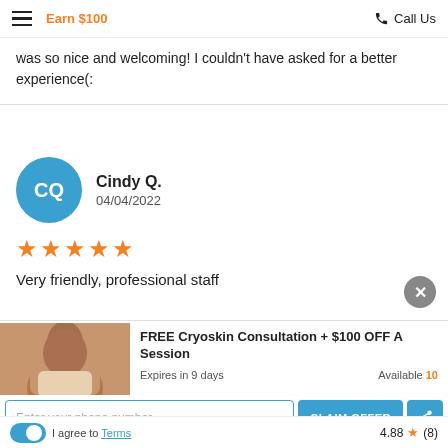Earn $100  Call Us
was so nice and welcoming! I couldn't have asked for a better experience(:
Cindy Q.
04/04/2022
★★★★★
Very friendly, professional staff
FREE Cryoskin Consultation + $100 OFF A Session
Expires in 9 days    Available 10
Enter your phone number
CLAIM OFFER
I agree to Terms    4.88 ★ (8)